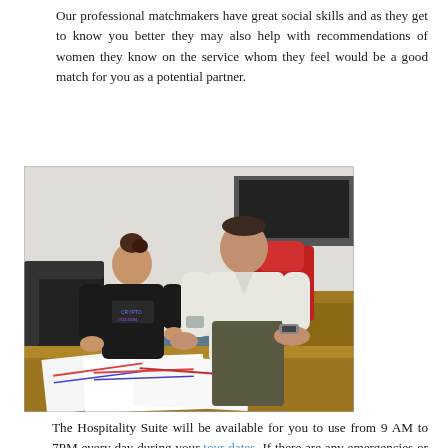Our professional matchmakers have great social skills and as they get to know you better they may also help with recommendations of women they know on the service whom they feel would be a good match for you as a potential partner.
[Figure (photo): A man in a white shirt and a woman in a black t-shirt sit together at a wooden desk in an office, looking at papers spread on the table. A red office chair and computer desk are visible in the background.]
The Hospitality Suite will be available for you to use from 9 AM to 7PM every day during your tour dates. If there are any emergencies or urgent help needed, the staff is on call during